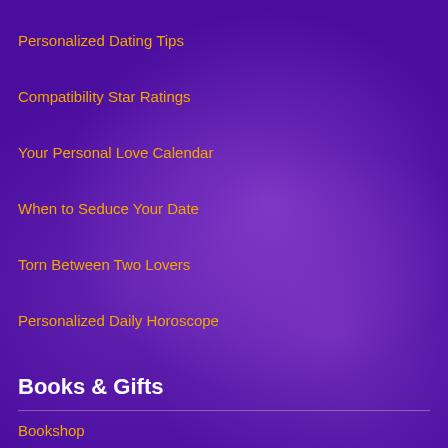Personalized Dating Tips
Compatibility Star Ratings
Your Personal Love Calendar
When to Seduce Your Date
Torn Between Two Lovers
Personalized Daily Horoscope
Books & Gifts
Bookshop